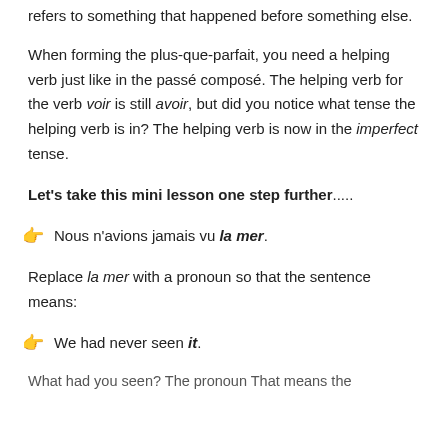refers to something that happened before something else.
When forming the plus-que-parfait, you need a helping verb just like in the passé composé. The helping verb for the verb voir is still avoir, but did you notice what tense the helping verb is in? The helping verb is now in the imperfect tense.
Let's take this mini lesson one step further.....
👉 Nous n'avions jamais vu la mer.
Replace la mer with a pronoun so that the sentence means:
👉 We had never seen it.
What had you seen? The pronoun That means the